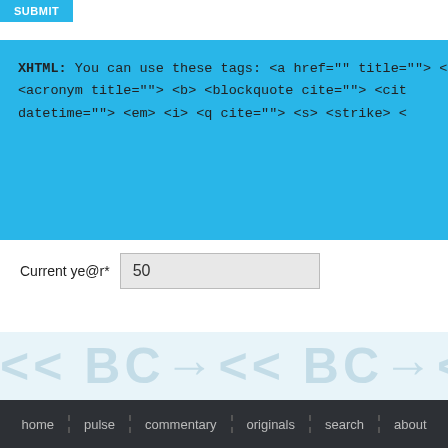[Figure (screenshot): A blue submit button (partially visible) at the top left of the page]
XHTML: You can use these tags: <a href="" title=""> <a <acronym title=""> <b> <blockquote cite=""> <cit datetime=""> <em> <i> <q cite=""> <s> <strike> <
Current ye@r* 50
[Figure (other): Watermark band with repeating faint logo/text pattern in light blue]
home | pulse | commentary | originals | search | about